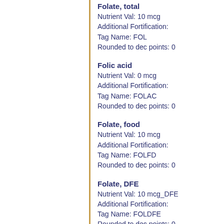Folate, total
Nutrient Val: 10 mcg
Additional Fortification:
Tag Name: FOL
Rounded to dec points: 0
Folic acid
Nutrient Val: 0 mcg
Additional Fortification:
Tag Name: FOLAC
Rounded to dec points: 0
Folate, food
Nutrient Val: 10 mcg
Additional Fortification:
Tag Name: FOLFD
Rounded to dec points: 0
Folate, DFE
Nutrient Val: 10 mcg_DFE
Additional Fortification:
Tag Name: FOLDFE
Rounded to dec points: 0
Choline, total